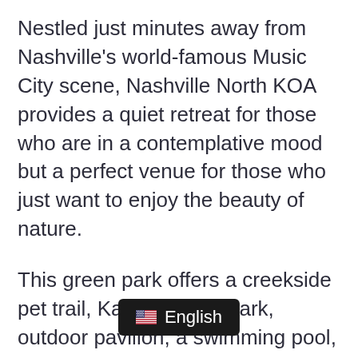Nestled just minutes away from Nashville’s world-famous Music City scene, Nashville North KOA provides a quiet retreat for those who are in a contemplative mood but a perfect venue for those who just want to enjoy the beauty of nature.
This green park offers a creekside pet trail, Kamp K9 Pet Park, outdoor pavilion, a swimming pool, a workout room, 24-hour laundry and an RV parts store.
On Thursday nights from April to October, Nashville North KOA offers Music and Dinner where guests can have a Southern meal for ju...ate and get entertained with live